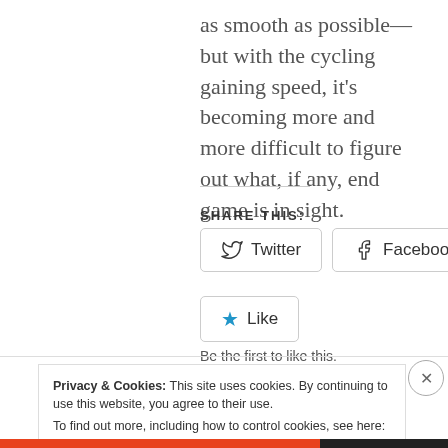as smooth as possible—but with the cycling gaining speed, it's becoming more and more difficult to figure out what, if any, end game is in sight.
SHARE THIS:
[Figure (screenshot): Twitter and Facebook share buttons with rounded rectangle borders]
[Figure (screenshot): Star Like button with 'Be the first to like this.' text below]
Privacy & Cookies: This site uses cookies. By continuing to use this website, you agree to their use. To find out more, including how to control cookies, see here: Cookie Policy
Close and accept